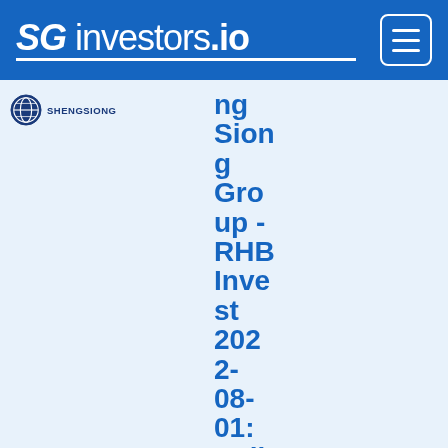SG investors.io
[Figure (logo): Sheng Siong company logo with circular globe icon and SHENGSIONG text]
ng Siong Group - RHB Invest 2022-08-01: Solid Defensive Play Against Inflation;